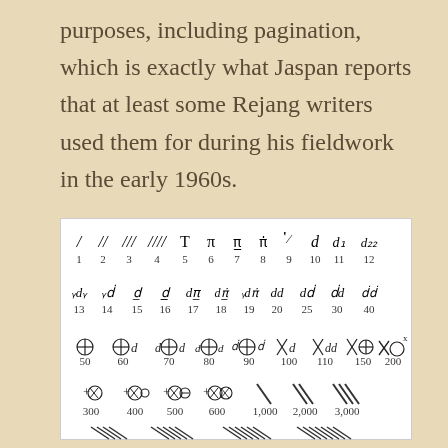purposes, including pagination, which is exactly what Jaspan reports that at least some Rejang writers used them for during his fieldwork in the early 1960s.
[Figure (other): Table of Rejang numeral symbols showing tally/pictographic numerals for values 1-12, 13-40, 50-200, 300-3,000. Each numeral symbol is shown above its corresponding numeric value.]